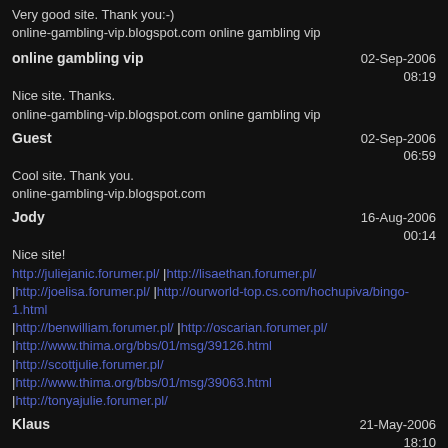Very good site. Thank you:-)
online-gambling-vip.blogspot.com online gambling vip
online gambling vip
02-Sep-2006 08:19
Nice site. Thanks.
online-gambling-vip.blogspot.com online gambling vip
Guest
02-Sep-2006 06:59
Cool site. Thank you.
online-gambling-vip.blogspot.com
Jody
16-Aug-2006 00:14
Nice site!
http://juliejanic.forumer.pl/ |http://lisaethan.forumer.pl/ |http://joelisa.forumer.pl/ |http://ourworld-top.cs.com/hochupiva/bingo-1.html |http://benwilliam.forumer.pl/ |http://oscarian.forumer.pl/ |http://www.thima.org/bbs/01/msg/39126.html |http://scottjulie.forumer.pl/ |http://www.thima.org/bbs/01/msg/39063.html |http://tonyajulie.forumer.pl/
Klaus
21-May-2006 18:10
At you the excellent site, a lot of useful info and good design, thank.